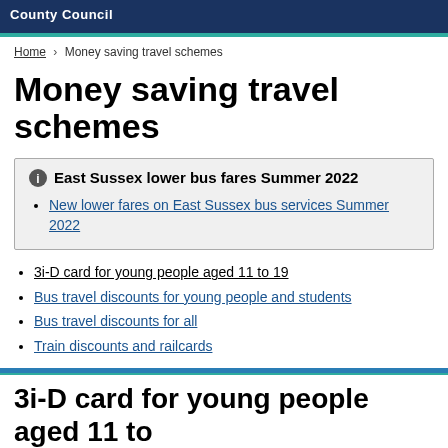County Council
Home > Money saving travel schemes
Money saving travel schemes
East Sussex lower bus fares Summer 2022
New lower fares on East Sussex bus services Summer 2022
3i-D card for young people aged 11 to 19
Bus travel discounts for young people and students
Bus travel discounts for all
Train discounts and railcards
3i-D card for young people aged 11 to 19